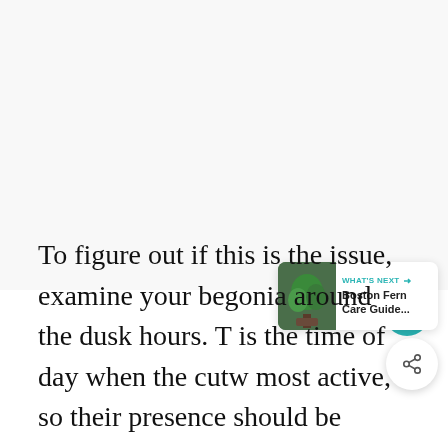[Figure (other): Large blank/white image area occupying the top two-thirds of the page]
To figure out if this is the issue, examine your begonia around the dusk hours. T is the time of day when the cutw most active, so their presence should be